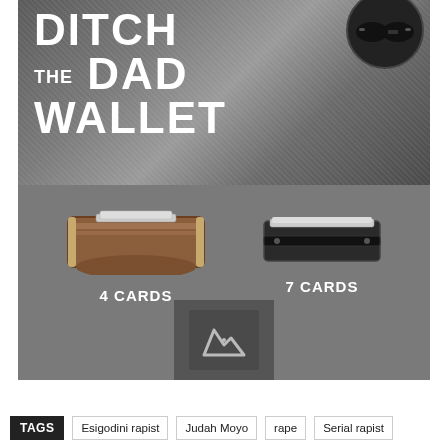[Figure (photo): Advertisement image showing 'Ditch the Dad Wallet' with a large brown leather bifold wallet labeled '4 CARDS' next to a slim black metal card holder labeled '7 CARDS', on a grey surface. Background shows denim jeans with sunglasses. A logo with letter R (mountain icon) appears at the bottom center.]
TAGS  Esigodini rapist  Judah Moyo  rape  Serial rapist